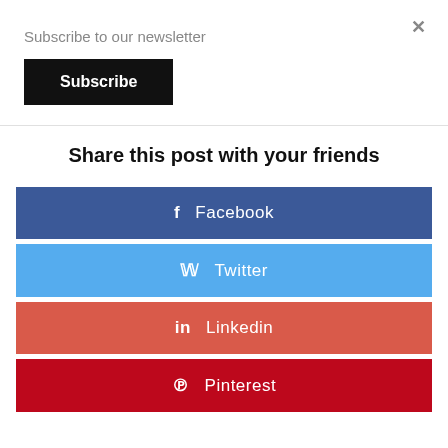Subscribe to our newsletter
Subscribe
Share this post with your friends
f  Facebook
Twitter
in  Linkedin
Pinterest